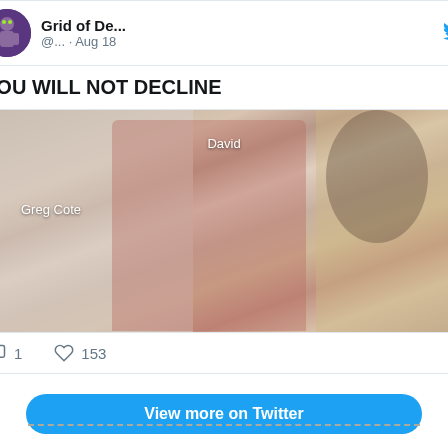[Figure (screenshot): Partial Twitter/X tweet card showing account 'Grid of De...' (@...) posted Aug 18 with text 'YOU WILL NOT DECLINE', a photo of people at an event labeled 'David' and 'Greg Cote', 1 comment and 153 likes, a 'View more on Twitter' button, and a privacy notice.]
YOU WILL NOT DECLINE
1
153
View more on Twitter
Learn more about privacy on Twitter